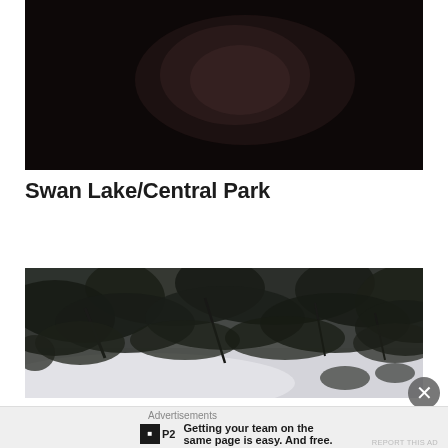[Figure (photo): Dark photograph, mostly black with a faint lighter shape visible in center, possibly a rock or body against a very dark background]
Swan Lake/Central Park
[Figure (photo): Tree branches with dense dark foliage photographed from below against a pale grey-white sky]
Advertisements
Getting your team on the same page is easy. And free.